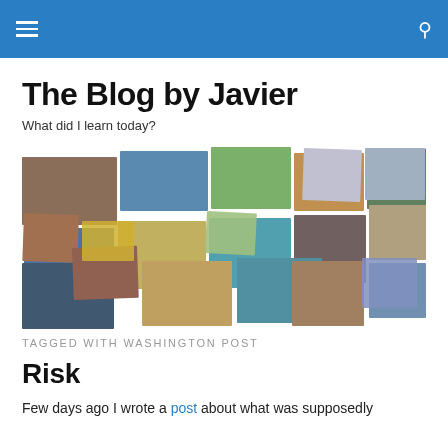The Blog by Javier — navigation header
The Blog by Javier
What did I learn today?
[Figure (photo): A collage of many travel and personal photographs arranged in an overlapping grid.]
TAGGED WITH WASHINGTON POST
Risk
Few days ago I wrote a post about what was supposedly